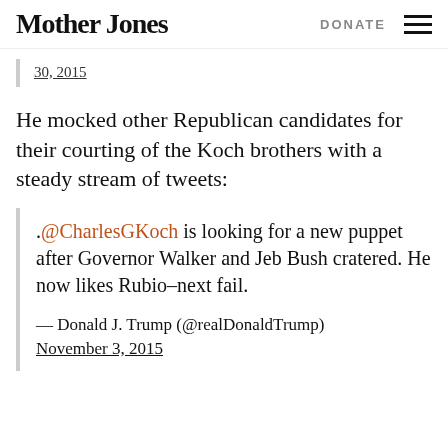Mother Jones | DONATE
30, 2015
He mocked other Republican candidates for their courting of the Koch brothers with a steady stream of tweets:
.@CharlesGKoch is looking for a new puppet after Governor Walker and Jeb Bush cratered. He now likes Rubio–next fail.
— Donald J. Trump (@realDonaldTrump) November 3, 2015